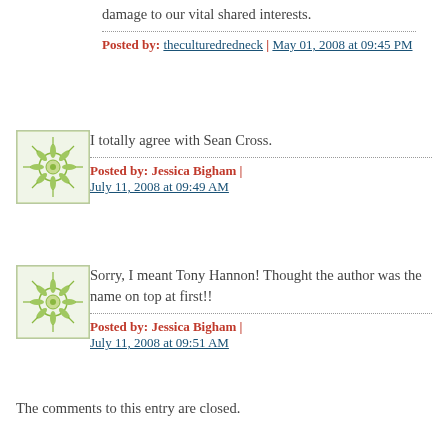damage to our vital shared interests.
Posted by: theculturedredneck | May 01, 2008 at 09:45 PM
[Figure (illustration): Green decorative circular snowflake/mandala avatar icon]
I totally agree with Sean Cross.
Posted by: Jessica Bigham | July 11, 2008 at 09:49 AM
[Figure (illustration): Green decorative circular snowflake/mandala avatar icon]
Sorry, I meant Tony Hannon! Thought the author was the name on top at first!!
Posted by: Jessica Bigham | July 11, 2008 at 09:51 AM
The comments to this entry are closed.